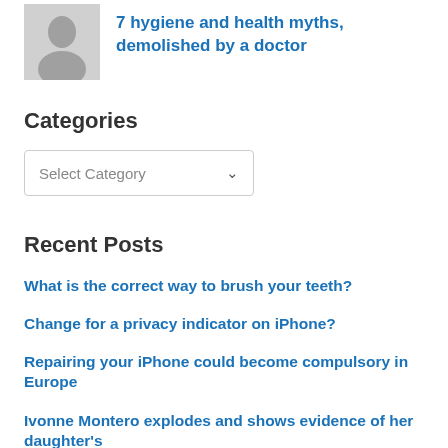[Figure (photo): Thumbnail image of a person for an article about hygiene and health myths]
7 hygiene and health myths, demolished by a doctor
Categories
Select Category
Recent Posts
What is the correct way to brush your teeth?
Change for a privacy indicator on iPhone?
Repairing your iPhone could become compulsory in Europe
Ivonne Montero explodes and shows evidence of her daughter's